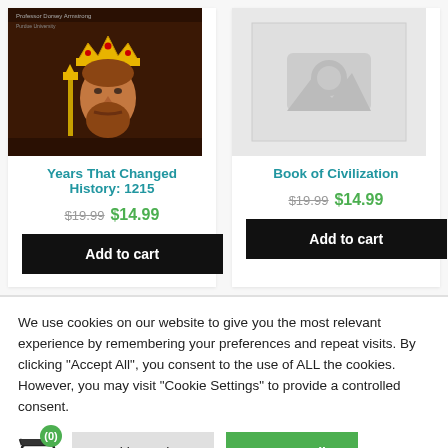[Figure (screenshot): Product card for 'Years That Changed History: 1215' showing a painting of a medieval king with a crown]
Years That Changed History: 1215
$19.99 $14.99
Add to cart
[Figure (photo): Placeholder image (grey camera icon) for Book of Civilization product]
Book of Civilization
$19.99 $14.99
Add to cart
We use cookies on our website to give you the most relevant experience by remembering your preferences and repeat visits. By clicking “Accept All”, you consent to the use of ALL the cookies. However, you may visit "Cookie Settings" to provide a controlled consent.
Cookie Settings
Accept All